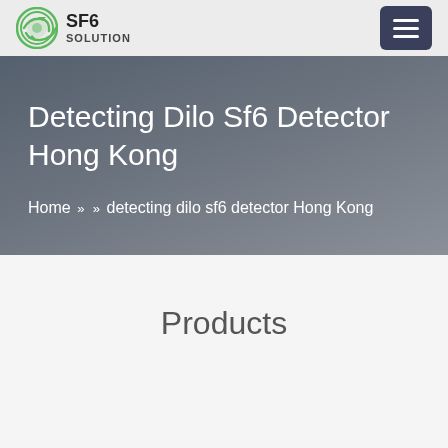SF6 SOLUTION
Detecting Dilo Sf6 Detector Hong Kong
Home » » detecting dilo sf6 detector Hong Kong
Products